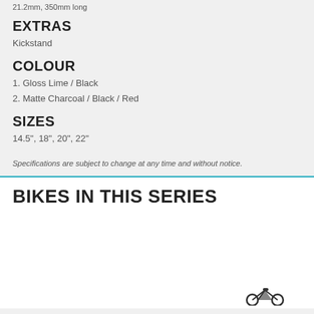21.2mm, 350mm long
EXTRAS
Kickstand
COLOUR
1. Gloss Lime / Black
2. Matte Charcoal / Black / Red
SIZES
14.5", 18", 20", 22"
Specifications are subject to change at any time and without notice.
BIKES IN THIS SERIES
[Figure (photo): Partial view of a bike silhouette in dark color at bottom right of section]